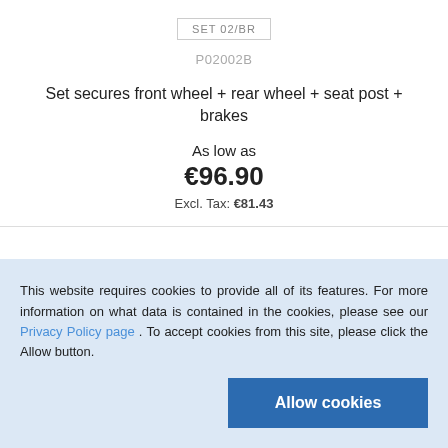SET 02/BR
P02002B
Set secures front wheel + rear wheel + seat post + brakes
As low as
€96.90
Excl. Tax: €81.43
This website requires cookies to provide all of its features. For more information on what data is contained in the cookies, please see our Privacy Policy page . To accept cookies from this site, please click the Allow button.